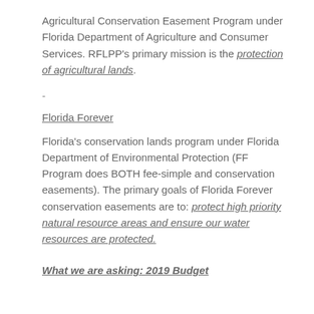Agricultural Conservation Easement Program under Florida Department of Agriculture and Consumer Services. RFLPP's primary mission is the protection of agricultural lands.
-
Florida Forever
Florida's conservation lands program under Florida Department of Environmental Protection (FF Program does BOTH fee-simple and conservation easements). The primary goals of Florida Forever conservation easements are to: protect high priority natural resource areas and ensure our water resources are protected.
What we are asking: 2019 Budget